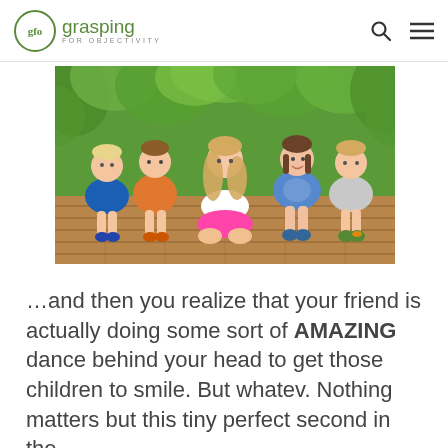gfo grasping FOR OBJECTIVITY
[Figure (photo): Five young children sitting together on a wooden deck outdoors, surrounded by lush green foliage. The children are smiling and posing together for a photo.]
…and then you realize that your friend is actually doing some sort of AMAZING dance behind your head to get those children to smile. But whatev. Nothing matters but this tiny perfect second in the